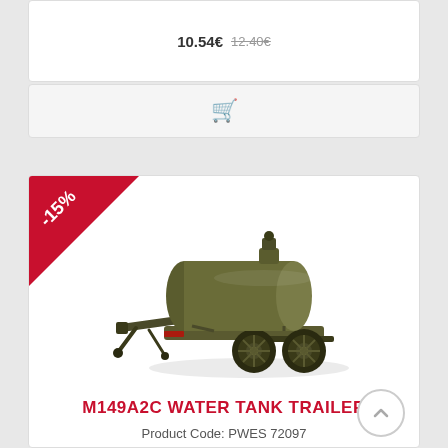10.54€  12.40€
[Figure (other): Shopping cart icon button area]
[Figure (photo): M149A2C Water Tank Trailer model photo - olive drab military trailer with cylindrical water tank, single axle, tow hitch]
M149A2C WATER TANK TRAILER
Product Code: PWES 72097
Ready model
19.04€  22.40€